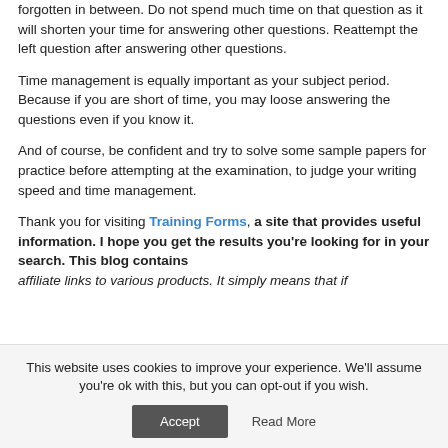forgotten in between. Do not spend much time on that question as it will shorten your time for answering other questions. Reattempt the left question after answering other questions.
Time management is equally important as your subject period. Because if you are short of time, you may loose answering the questions even if you know it.
And of course, be confident and try to solve some sample papers for practice before attempting at the examination, to judge your writing speed and time management.
Thank you for visiting Training Forms, a site that provides useful information. I hope you get the results you're looking for in your search. This blog contains affiliate links to various products. It simply means that if
This website uses cookies to improve your experience. We'll assume you're ok with this, but you can opt-out if you wish.